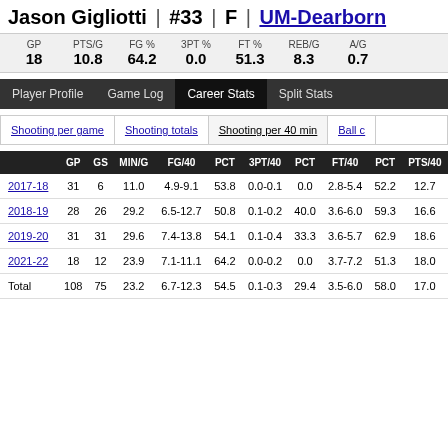Jason Gigliotti | #33 | F | UM-Dearborn
| GP | PTS/G | FG % | 3PT % | FT % | REB/G | A/G |
| --- | --- | --- | --- | --- | --- | --- |
| 18 | 10.8 | 64.2 | 0.0 | 51.3 | 8.3 | 0.7 |
Player Profile | Game Log | Career Stats | Split Stats
Shooting per game | Shooting totals | Shooting per 40 min | Ball c
|  | GP | GS | MIN/G | FG/40 | PCT | 3PT/40 | PCT | FT/40 | PCT | PTS/40 |
| --- | --- | --- | --- | --- | --- | --- | --- | --- | --- | --- |
| 2017-18 | 31 | 6 | 11.0 | 4.9-9.1 | 53.8 | 0.0-0.1 | 0.0 | 2.8-5.4 | 52.2 | 12.7 |
| 2018-19 | 28 | 26 | 29.2 | 6.5-12.7 | 50.8 | 0.1-0.2 | 40.0 | 3.6-6.0 | 59.3 | 16.6 |
| 2019-20 | 31 | 31 | 29.6 | 7.4-13.8 | 54.1 | 0.1-0.4 | 33.3 | 3.6-5.7 | 62.9 | 18.6 |
| 2021-22 | 18 | 12 | 23.9 | 7.1-11.1 | 64.2 | 0.0-0.2 | 0.0 | 3.7-7.2 | 51.3 | 18.0 |
| Total | 108 | 75 | 23.2 | 6.7-12.3 | 54.5 | 0.1-0.3 | 29.4 | 3.5-6.0 | 58.0 | 17.0 |